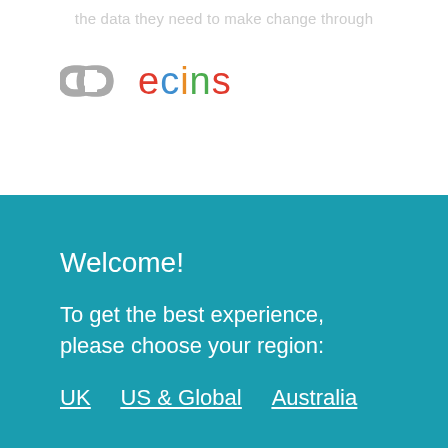the data they need to make change through
[Figure (logo): ECINS logo with chain-link icon in grey and colorful 'ecins' text (e=red, c=blue, i=orange, n=green, s=red)]
Welcome!
To get the best experience, please choose your region:
UK
US & Global
Australia